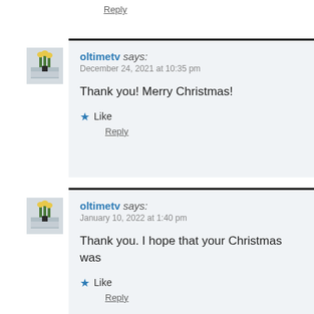Reply
[Figure (photo): Avatar image of oltimetv showing flowers in a vase (comment 1)]
oltimetv says: December 24, 2021 at 10:35 pm
Thank you! Merry Christmas!
Like
Reply
[Figure (photo): Avatar image of oltimetv showing flowers in a vase (comment 2)]
oltimetv says: January 10, 2022 at 1:40 pm
Thank you. I hope that your Christmas was
Like
Reply